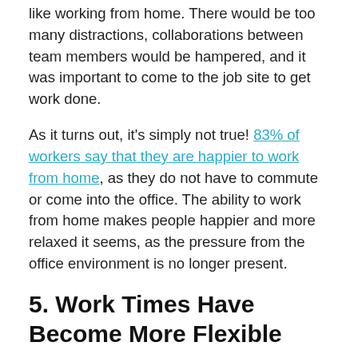suggested, employers suggested that workers would not like working from home. There would be too many distractions, collaborations between team members would be hampered, and it was important to come to the job site to get work done.
As it turns out, it's simply not true! 83% of workers say that they are happier to work from home, as they do not have to commute or come into the office. The ability to work from home makes people happier and more relaxed it seems, as the pressure from the office environment is no longer present.
5. Work Times Have Become More Flexible
One of the challenges of working in an office space was the lack of work life balance. With so much time spent in the office, it was difficult to find time for hobbies,